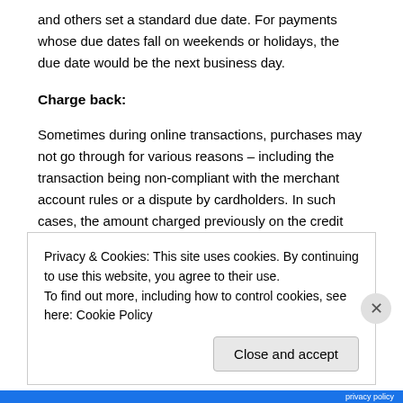and others set a standard due date. For payments whose due dates fall on weekends or holidays, the due date would be the next business day.
Charge back:
Sometimes during online transactions, purchases may not go through for various reasons – including the transaction being non-compliant with the merchant account rules or a dispute by cardholders. In such cases, the amount charged previously on the credit card is credited back to the card holder through a reverse (credit) entry. This is called a charge-back.
Late payment fee:
Privacy & Cookies: This site uses cookies. By continuing to use this website, you agree to their use.
To find out more, including how to control cookies, see here: Cookie Policy
Close and accept